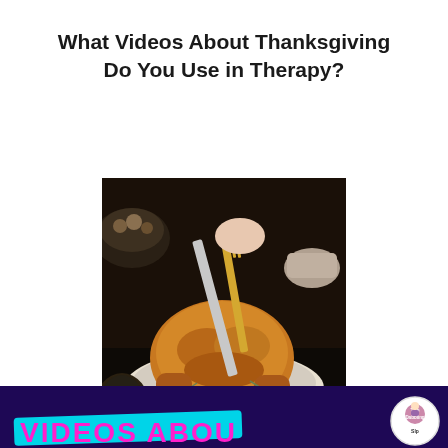What Videos About Thanksgiving Do You Use in Therapy?
[Figure (photo): A roasted Thanksgiving turkey on a platter surrounded by garlic, lemon slices, and herbs, being carved with a knife and fork. The table also has side dishes visible.]
[Figure (screenshot): Bottom banner with dark purple background, cyan brush stroke, pink/magenta bold text reading 'VIDEOS ABOU' (cut off), and a circular logo for 'The Dabbling Slp' on the right.]